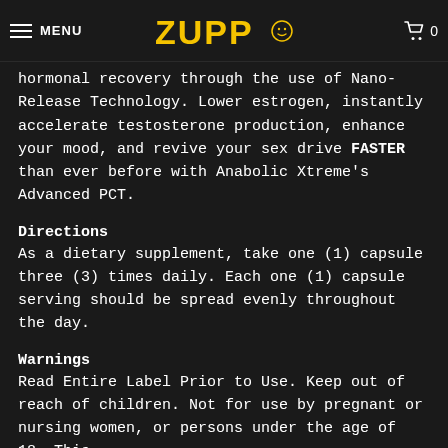MENU | ZUPP | 0
hormonal recovery through the use of Nano-Release Technology. Lower estrogen, instantly accelerate testosterone production, enhance your mood, and revive your sex drive FASTER than ever before with Anabolic Xtreme's Advanced PCT.
Directions
As a dietary supplement, take one (1) capsule three (3) times daily. Each one (1) capsule serving should be spread evenly throughout the day.
Warnings
Read Entire Label Prior to Use. Keep out of reach of children. Not for use by pregnant or nursing women, or persons under the age of 18. This